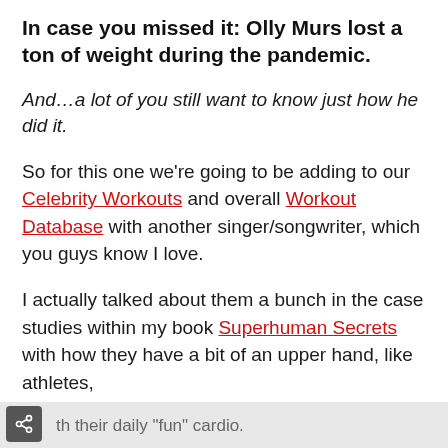In case you missed it: Olly Murs lost a ton of weight during the pandemic.
And…a lot of you still want to know just how he did it.
So for this one we're going to be adding to our Celebrity Workouts and overall Workout Database with another singer/songwriter, which you guys know I love.
I actually talked about them a bunch in the case studies within my book Superhuman Secrets with how they have a bit of an upper hand, like athletes,
th their daily "fun" cardio.